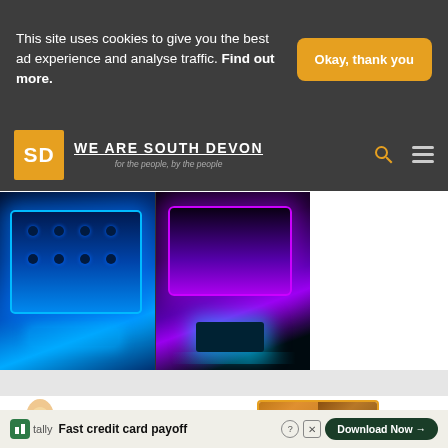This site uses cookies to give you the best ad experience and analyse traffic. Find out more.
Okay, thank you
[Figure (logo): We Are South Devon logo with SD orange square logo and tagline 'for the people, by the people']
[Figure (photo): Two hot tubs illuminated with LED lights - one blue on the left, one purple/cyan on the right]
FREE RANGE FARM EGGS
Delivered free to your home
[Figure (photo): Advertisement image showing farm eggs in baskets]
Fast credit card payoff
Download Now →